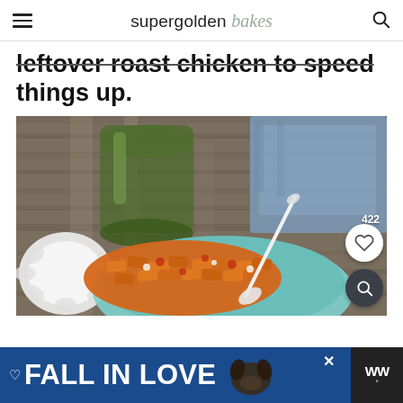supergolden bakes
leftover roast chicken to speed things up.
[Figure (photo): Overhead photo of a bowl of rigatoni pasta in tomato sauce with a spoon, a green glass, a white ruffled dish, and a blue cloth napkin on a rustic wooden surface. Overlaid with a heart save button and a search button.]
FALL IN LOVE